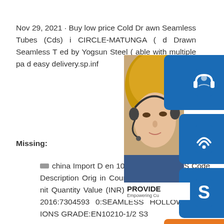Nov 29, 2021 · Buy low price Cold Drawn Seamless Tubes (Cds) in CIRCLE-MATUNGA (... d Drawn Seamless T... ed by Yogsun Steel (... able with multiple pa... d easy delivery.sp.inf...
Missing:
china Import D... en 10210 unde... Date HS Code Description Origin Country Port of Discharge Unit Quantity Value (INR) Per Unit (INR) Nov 21 2016:73045930:SEAMLESS HOLLOW SECTIONS GRADE:EN10210-1/2 S3
[Figure (infographic): Customer service widget overlay with 24/7 label, headset icon, phone icon, Skype icon, a person with headset photo, PROVIDE Empowering Cus... text, and orange 'online live' button.]